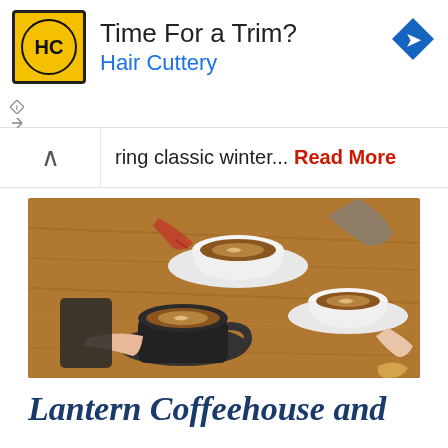[Figure (other): Hair Cuttery advertisement banner with yellow/black HC logo, text 'Time For a Trim?' and 'Hair Cuttery' in blue, blue diamond arrow icon top right, ad disclosure icons bottom left]
ring classic winter... Read More
[Figure (photo): Overhead view of three people's hands holding cups of latte/cappuccino coffee on a wooden table. One black mug and two white cups with saucers. Latte art visible in foam.]
Lantern Coffeehouse and